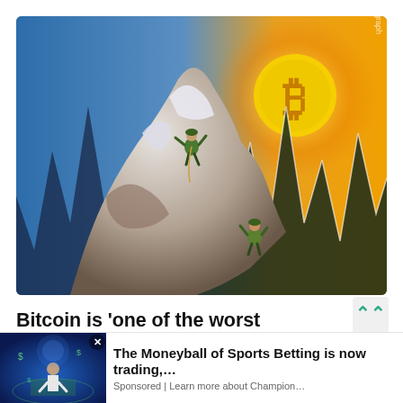[Figure (illustration): Digital illustration of mountain climbers scaling a steep snowy rocky peak. In the background, a Bitcoin logo (₿) shines like a sun against an orange glowing sky. Dark jagged mountain spikes create a zigzag pattern resembling a volatile price chart. Two climbers are visible on the rock face.]
Bitcoin is 'one of the worst cryptocurrencies' claims Cyber Capital founder
[Figure (illustration): Advertisement thumbnail showing a man in a suit standing on a sports field with a glowing digital overlay, suggesting data-driven sports betting analytics.]
The Moneyball of Sports Betting is now trading,… Sponsored | Learn more about Champion…